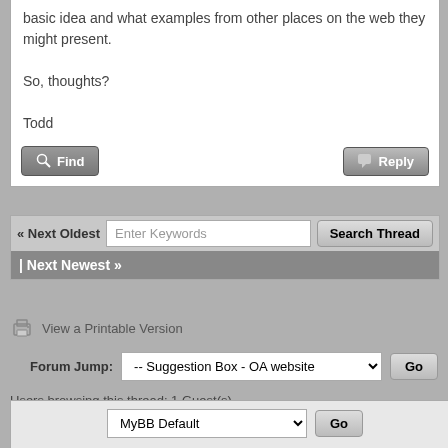basic idea and what examples from other places on the web they might present.

So, thoughts?

Todd
« Next Oldest | Next Newest »
View a Printable Version
Forum Jump: -- Suggestion Box - OA website   Go
Users browsing this thread: 1 Guest(s)
Contact Us | orionsarm.com | Return to Top | Lite (Archive) Mode | RSS Syndication